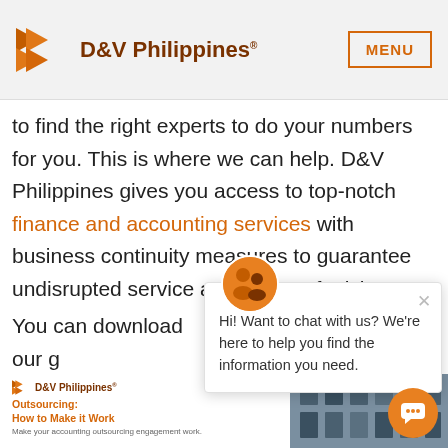D&V Philippines® | MENU
to find the right experts to do your numbers for you. This is where we can help. D&V Philippines gives you access to top-notch finance and accounting services with business continuity measures to guarantee undisrupted service at the face of crisi...
You can download our g... it Work to learn how we... here in the Philippines.
[Figure (screenshot): Chat popup with avatar showing three people, close button (x), and message: Hi! Want to chat with us? We're here to help you find the information you need.]
[Figure (screenshot): Preview of D&V Philippines brochure: Outsourcing: How to Make it Work — Make your accounting outsourcing engagement work. Alongside a photo of a building exterior.]
[Figure (other): Orange chat bubble button icon at bottom right corner]